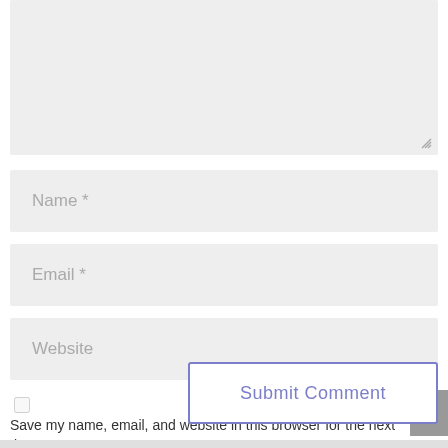[Figure (screenshot): Textarea input field (top portion cut off), showing a light grey background with a resize handle in the bottom-right corner.]
Name *
Email *
Website
Save my name, email, and website in this browser for the next time I comment.
Submit Comment